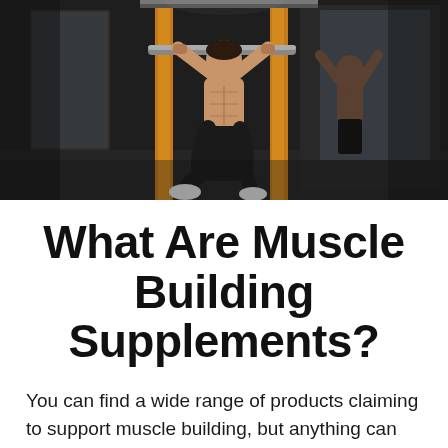[Figure (photo): A muscular shirtless man doing pull-ups on a gym rack with orange accents. A second person is visible in the background doing pull-ups as well. The gym setting is dark with mirrors and equipment visible.]
What Are Muscle Building Supplements?
You can find a wide range of products claiming to support muscle building, but anything can be related to growth, even a calcium supplement.